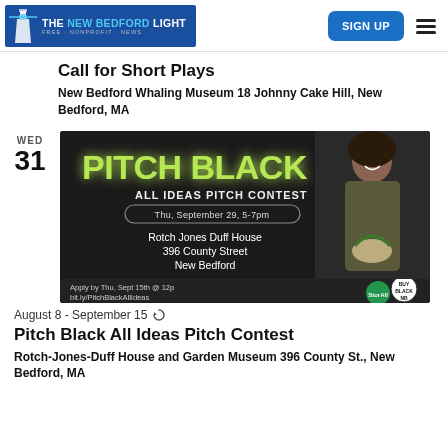THE NEW BEDFORD LIGHT FREE·NONPROFIT·NEWS | SIGN UP
Call for Short Plays
New Bedford Whaling Museum 18 Johnny Cake Hill, New Bedford, MA
[Figure (photo): Advertisement image for Pitch Black All Ideas Pitch Contest showing a woman holding a plant against a dark background, with text: PITCH BLACK ALL IDEAS PITCH CONTEST Thu. September 29, 5-7pm, Rotch Jones Duff House 396 County Street New Bedford, Apply by Thu, Sept 15th @ 12p bit.ly/PitchBlackAllIdeas]
August 8 - September 15
Pitch Black All Ideas Pitch Contest
Rotch-Jones-Duff House and Garden Museum 396 County St., New Bedford, MA